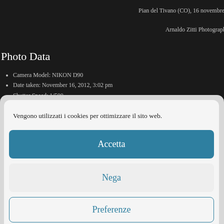Pian del Tivano (CO), 16 novembre 2
Arnaldo Zitti Photography
Photo Data
Camera Model: NIKON D90
Date taken: November 16, 2012, 3:02 pm
Shutter Speed: 1/500
Vengono utilizzati i cookies per ottimizzare il sito web.
Accetta
Nega
Preferenze
Cookie Policy  Privacy Policy